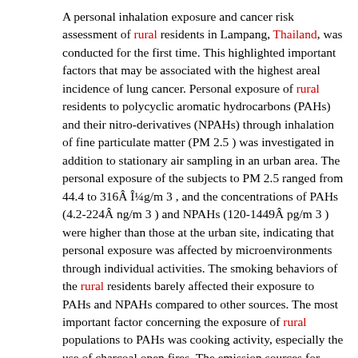A personal inhalation exposure and cancer risk assessment of rural residents in Lampang, Thailand, was conducted for the first time. This highlighted important factors that may be associated with the highest areal incidence of lung cancer. Personal exposure of rural residents to polycyclic aromatic hydrocarbons (PAHs) and their nitro-derivatives (NPAHs) through inhalation of fine particulate matter (PM 2.5 ) was investigated in addition to stationary air sampling in an urban area. The personal exposure of the subjects to PM 2.5 ranged from 44.4 to 316Â ¼g/m 3 , and the concentrations of PAHs (4.2-224Â ng/m 3 ) and NPAHs (120-1449Â pg/m 3 ) were higher than those at the urban site, indicating that personal exposure was affected by microenvironments through individual activities. The smoking behaviors of the rural residents barely affected their exposure to PAHs and NPAHs compared to other sources. The most important factor concerning the exposure of rural populations to PAHs was cooking activity, especially the use of charcoal open fires. The emission sources for rural residents and urban air were evaluated using diagnostic ratios, 1-nitropyrene/pyrene, and benzo[a]pyrene/benzo[ghi]perylene. Their analyses showed a significant contribution to emission from residents' personal activities in addition to the atmospheric